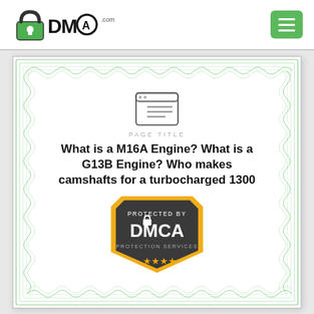[Figure (logo): DMCA.com logo with padlock icon and text DMCA.com]
[Figure (other): Green hamburger menu button]
[Figure (infographic): DMCA protection certificate with green guilloché border pattern, browser/page icon, PAGE TITLE label, article title text, and PROTECTED BY DMCA PROTECTION SERVICES shield badge with orange star rating]
PAGE TITLE
What is a M16A Engine? What is a G13B Engine? Who makes camshafts for a turbocharged 1300
PROTECTED BY
DMCA
PROTECTION SERVICES